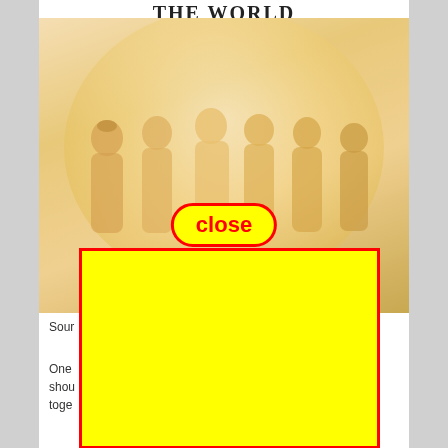THE WORLD
[Figure (illustration): Book cover illustration showing silhouettes of diverse people standing together in front of a globe, rendered in warm golden/amber tones. A yellow 'close' button with red border is overlaid on the image.]
Sour
One ne shou toge